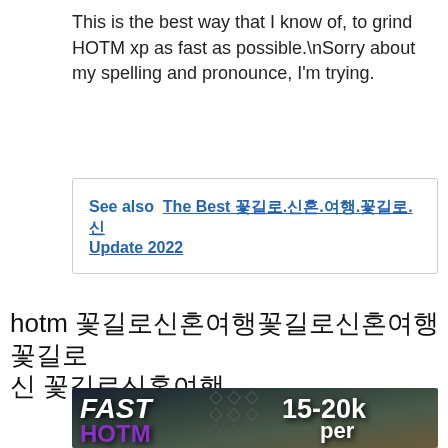This is the best way that I know of, to grind HOTM xp as fast as possible.\nSorry about my spelling and pronounce, I'm trying.
See also  The Best 꽃길로.신혼.여행.꽃길로.신 Update 2022
hotm 꽃길로신혼여행꽃길로신혼여행꽃길로 신 꽃길로신혼여행
[Figure (screenshot): Game screenshot thumbnail with overlaid white text 'FAST HOTM XP' on the left and '15-20k per hour^' on the right, showing a Minecraft-like game environment in grayscale/dark tones.]